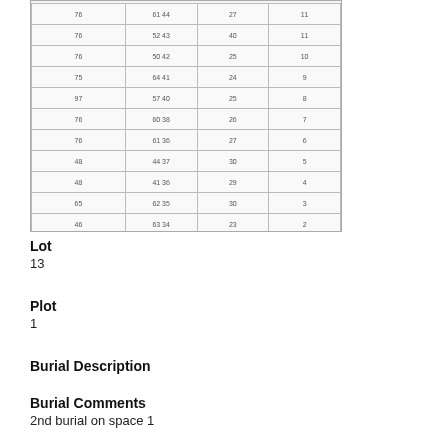[Figure (table-as-image): Grid/table image showing numbered burial plot rows with columns of data values, appearing blurred/scanned]
Lot
13
Plot
1
Burial Description
Burial Comments
2nd burial on space 1